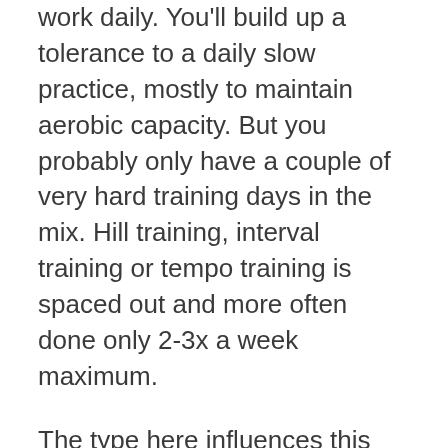work daily. You'll build up a tolerance to a daily slow practice, mostly to maintain aerobic capacity. But you probably only have a couple of very hard training days in the mix. Hill training, interval training or tempo training is spaced out and more often done only 2-3x a week maximum.
The type here influences this greatly. Being in a pool is a lot less taxing on the body than being on a bike, which is less taxing than rowing and finally running (which has impact).
So volumes and intensities can be adjusted accordingly. Michael Phelps can spend 5 hours in the pool daily because he's in a pool and therefore buoyant. Cyclists are more apt to train maybe 2-5 hours a day. Whereas Marathoners by comparison